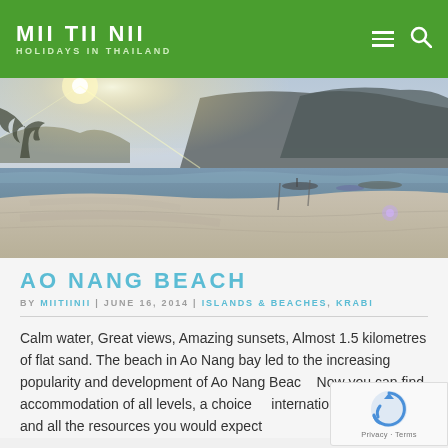MII TII NII — HOLIDAYS IN THAILAND
[Figure (photo): Wide beach photo of Ao Nang bay at dusk, showing flat sandy beach, calm water, boats in the distance, and dramatic limestone cliffs in the background with a warm hazy sky.]
AO NANG BEACH
BY MIITIINII | JUNE 16, 2014 | ISLANDS & BEACHES, KRABI
Calm water, Great views, Amazing sunsets, Almost 1.5 kilometres of flat sand. The beach in Ao Nang bay led to the increasing popularity and development of Ao Nang Beach. Now you can find accommodation of all levels, a choice of international restaurants and all the resources you would expect